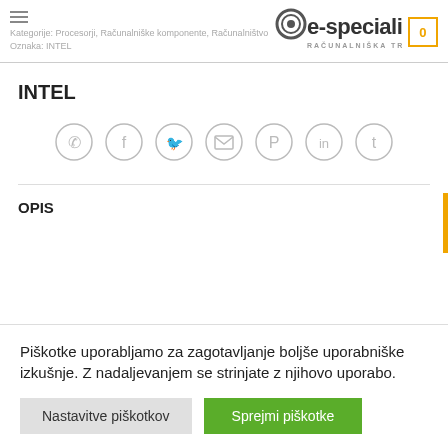Kategorije: Procesorji, Računalniške komponente, Računalništvo | Oznaka: INTEL | e-specialisti RAČUNALNIŠKA TRGOVINA | 0
INTEL
[Figure (infographic): Row of 7 circular social sharing icons: WhatsApp, Facebook, Twitter, Email, Pinterest, LinkedIn, Tumblr]
OPIS
Piškotke uporabljamo za zagotavljanje boljše uporabniške izkušnje. Z nadaljevanjem se strinjate z njihovo uporabo.
Nastavitve piškotkov   Sprejmi piškotke